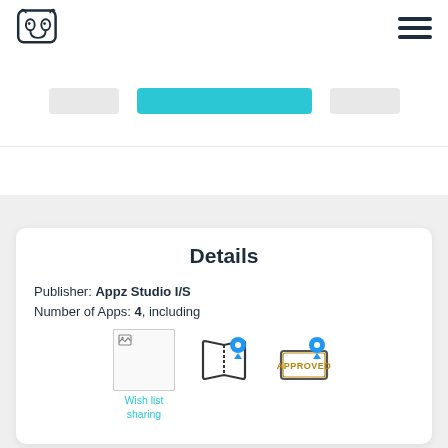Mammoth app store navigation header with logo and hamburger menu
[Figure (screenshot): Tab/pill navigation bar with a teal center pill selected and gray pills on left and right]
Details
Publisher: Appz Studio I/S
Number of Apps: 4, including
[Figure (illustration): Three app icons: a broken image placeholder labeled 'Wish list sharing', an open book with blue location pin icon, and an approved stamp with blue location pin icon]